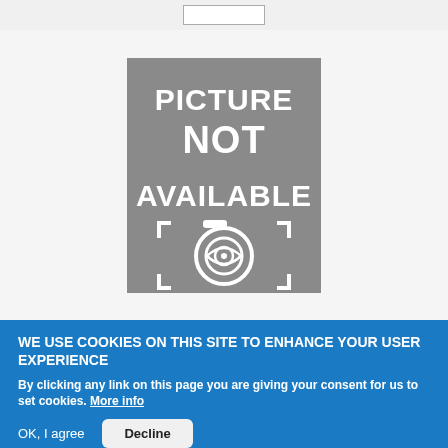[Figure (other): Picture Not Available placeholder image with camera icon on grey background]
WE USE COOKIES ON THIS SITE TO ENHANCE YOUR USER EXPERIENCE
By clicking any link on this page you are giving your consent for us to set cookies. More info
OK, I agree
Decline